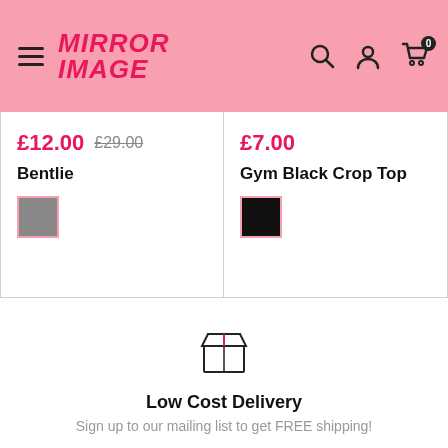MIRROR IMAGE — navigation header with hamburger menu, logo, search, account, and cart icons
£12.00 £29.00
Bentlie
[Figure (other): Gray color swatch with pink border]
£7.00
Gym Black Crop Top
[Figure (other): Black color swatch with pink border]
[Figure (illustration): Box/package outline icon representing delivery]
Low Cost Delivery
Sign up to our mailing list to get FREE shipping!